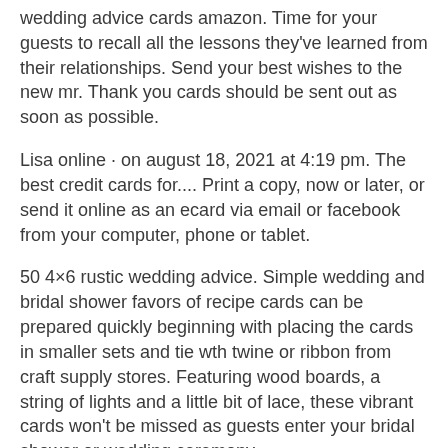wedding advice cards amazon. Time for your guests to recall all the lessons they've learned from their relationships. Send your best wishes to the new mr. Thank you cards should be sent out as soon as possible.
Lisa online · on august 18, 2021 at 4:19 pm. The best credit cards for.... Print a copy, now or later, or send it online as an ecard via email or facebook from your computer, phone or tablet.
50 4×6 rustic wedding advice. Simple wedding and bridal shower favors of recipe cards can be prepared quickly beginning with placing the cards in smaller sets and tie wth twine or ribbon from craft supply stores. Featuring wood boards, a string of lights and a little bit of lace, these vibrant cards won't be missed as guests enter your bridal shower or wedding ceremony.
4.8 out of 5 stars 218. Our pick for the best credit card for big wedding purchases is the capital one savor cash rewards. The heart shaped cards create a reception activity that allows guests to share their words of wisdom to the.